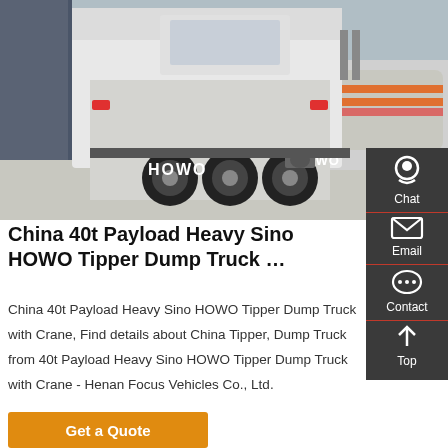[Figure (photo): Rear view of a white Sino HOWO heavy-duty truck (tractor unit) parked in a yard, with tanker trailers visible in the background. HOWO branding visible on the vehicle.]
China 40t Payload Heavy Sino HOWO Tipper Dump Truck …
China 40t Payload Heavy Sino HOWO Tipper Dump Truck with Crane, Find details about China Tipper, Dump Truck from 40t Payload Heavy Sino HOWO Tipper Dump Truck with Crane - Henan Focus Vehicles Co., Ltd.
Get a Quote